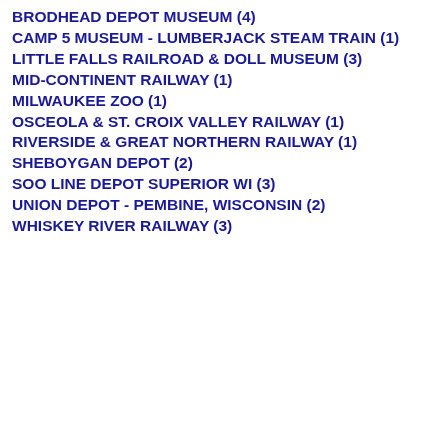BRODHEAD DEPOT MUSEUM (4)
CAMP 5 MUSEUM - LUMBERJACK STEAM TRAIN (1)
LITTLE FALLS RAILROAD & DOLL MUSEUM (3)
MID-CONTINENT RAILWAY (1)
MILWAUKEE ZOO (1)
OSCEOLA & ST. CROIX VALLEY RAILWAY (1)
RIVERSIDE & GREAT NORTHERN RAILWAY (1)
SHEBOYGAN DEPOT (2)
SOO LINE DEPOT SUPERIOR WI (3)
UNION DEPOT - PEMBINE, WISCONSIN (2)
WHISKEY RIVER RAILWAY (3)